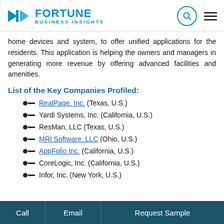Fortune Business Insights
home devices and system, to offer unified applications for the residents. This application is helping the owners and managers in generating more revenue by offering advanced facilities and amenities.
List of the Key Companies Profiled:
RealPage, Inc. (Texas, U.S.)
Yardi Systems, Inc. (California, U.S.)
ResMan, LLC (Texas, U.S.)
MRI Software, LLC (Ohio, U.S.)
AppFolio Inc. (California, U.S.)
CoreLogic, Inc. (California, U.S.)
Infor, Inc. (New York, U.S.)
Call | Email | Request Sample